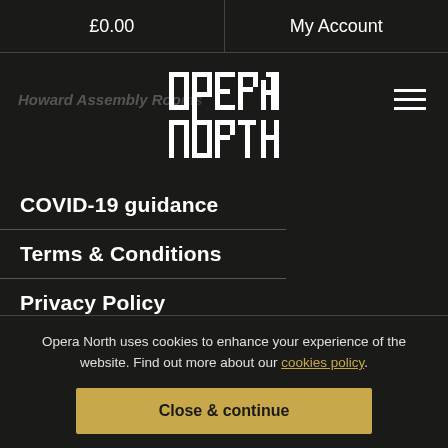£0.00   My Account
[Figure (logo): Opera North logo in white pixelated/block font style]
Howard Assembly Rooms
COVID-19 guidance
Terms & Conditions
Privacy Policy
Cookie Policy
Contact Us
Opera North uses cookies to enhance your experience of the website. Find out more about our cookies policy.
Close & continue